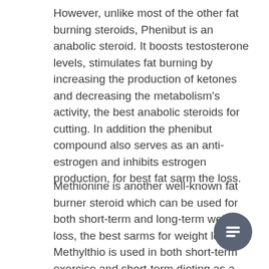However, unlike most of the other fat burning steroids, Phenibut is an anabolic steroid. It boosts testosterone levels, stimulates fat burning by increasing the production of ketones and decreasing the metabolism's activity, the best anabolic steroids for cutting. In addition the phenibut compound also serves as an anti-estrogen and inhibits estrogen production, for best fat sarm the loss.
Methionine is another well-known fat burner steroid which can be used for both short-term and long-term weight loss, the best sarms for weight loss. Methylthio is used in both short-term exercise and short-term dieting as a source of energy. It is metabolized into Creatine Phosphate by the mitochondria and can produce a similar effect of increasing muscle mass via mTOR protein synthesis. In regards to a long-term solution, a combination of positive...